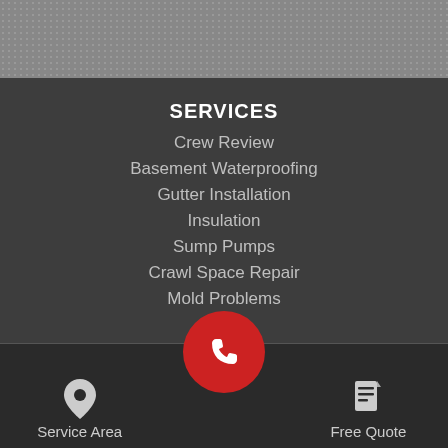[Figure (screenshot): Gray dotted/textured banner at top of page]
SERVICES
Crew Review
Basement Waterproofing
Gutter Installation
Insulation
Sump Pumps
Crawl Space Repair
Mold Problems
[Figure (infographic): Bottom navigation bar with Service Area (map pin icon), phone call button (red circle with phone icon), and Free Quote (document icon)]